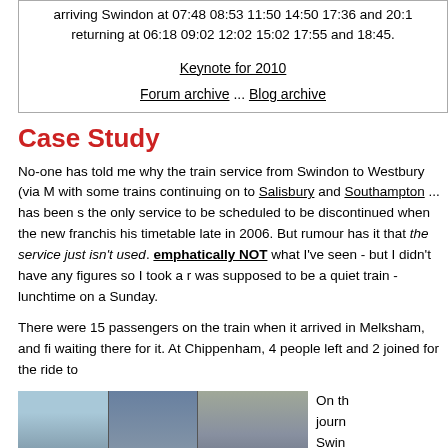arriving Swindon at 07:48 08:53 11:50 14:50 17:36 and 20:1
returning at 06:18 09:02 12:02 15:02 17:55 and 18:45.
Keynote for 2010
Forum archive ... Blog archive
Case Study
No-one has told me why the train service from Swindon to Westbury (via M... with some trains continuing on to Salisbury and Southampton ... has been s... the only service to be scheduled to be discontinued when the new franchise his timetable late in 2006. But rumour has it that the service just isn't used. emphatically NOT what I've seen - but I didn't have any figures so I took a r... was supposed to be a quiet train - lunchtime on a Sunday.
There were 15 passengers on the train when it arrived in Melksham, and fiv... waiting there for it. At Chippenham, 4 people left and 2 joined for the ride to...
On th journey Swin pass...
[Figure (photo): Photograph strip showing building exterior and sky, with yellow background area below]